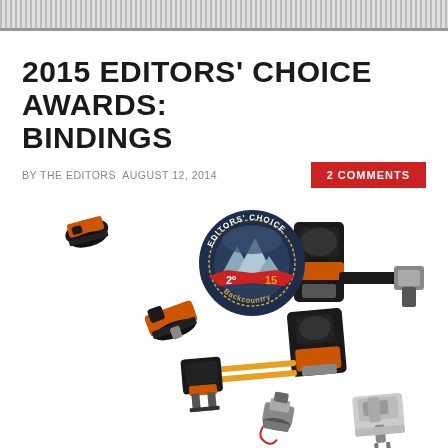2015 EDITORS' CHOICE AWARDS: BINDINGS
BY THE EDITORS AUGUST 12, 2014
2 COMMENTS
[Figure (photo): Multiple ski bindings arranged on white background including orange and black alpine touring bindings, with an Editors' Choice 2015 Backcountry badge/seal overlaid in the center]